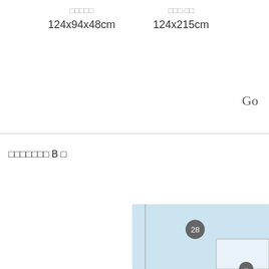□□□□□ 124x94x48cm
□□□·□□ 124x215cm
Go
□□□□□□□ B □
[Figure (illustration): Furniture diagram showing a light blue cabinet/wardrobe with a numbered badge '28' and a door panel visible at bottom right.]